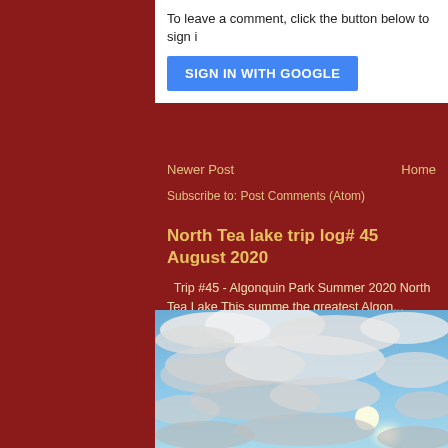To leave a comment, click the button below to sign i
SIGN IN WITH GOOGLE
Newer Post
Home
Subscribe to: Post Comments (Atom)
North Tea lake trip log# 45 August 2020
Trip #45 - Algonquin Park Summer 2020 North Tea Lake This summe the greatest Algon...
[Figure (photo): Sky photo with blue sky, white clouds, and sun partially visible through clouds]